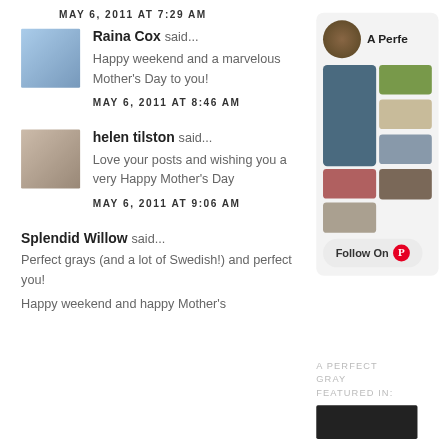MAY 6, 2011 AT 7:29 AM
[Figure (photo): Avatar photo of Raina Cox]
Raina Cox said... Happy weekend and a marvelous Mother's Day to you!
MAY 6, 2011 AT 8:46 AM
[Figure (photo): Avatar photo of helen tilston]
helen tilston said... Love your posts and wishing you a very Happy Mother's Day
MAY 6, 2011 AT 9:06 AM
Splendid Willow said... Perfect grays (and a lot of Swedish!) and perfect you! Happy weekend and happy Mother's Day
[Figure (screenshot): Pinterest sidebar widget showing 'A Perfe' title with avatar and grid of images, plus Follow On Pinterest button]
A PERFECT GRAY FEATURED IN:
[Figure (photo): Featured In logo image (black background)]